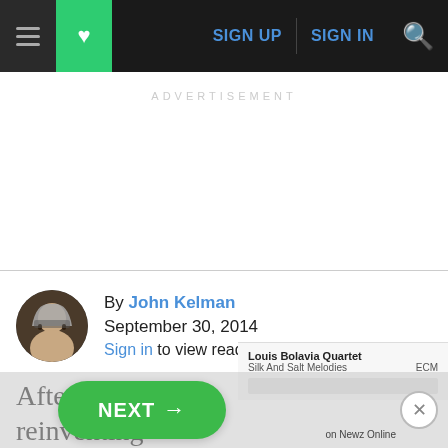SIGN UP   SIGN IN
ADVERTISEMENT
By John Kelman
September 30, 2014
Sign in to view read count
After reinventing himself with a completely revamped
[Figure (screenshot): Music card showing 'Louis Bolavia Quartet - Silk And Salt Melodies - ECM']
NEXT →  on Newz Online